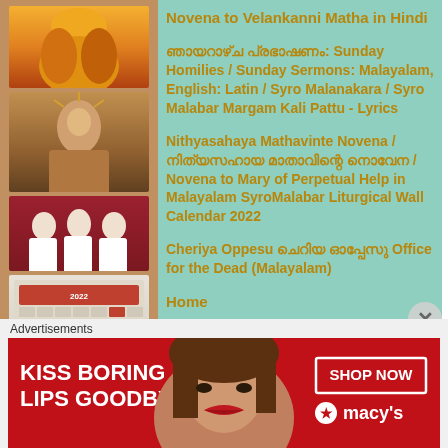[Figure (illustration): Sidebar with religious images: fire/flame figure, Jesus portrait, group in white robes, calendar, and two more Jesus portraits on a tan/brown background]
Novena to Velankanni Matha in Hindi
ഞായറാഴ്ച പ്രഭാഷണം: Sunday Homilies / Sunday Sermons: Malayalam, English: Latin / Syro Malanakara / Syro Malabar Margam Kali Pattu - Lyrics
Nithyasahaya Mathavinte Novena / നിത്യസഹായ മാതാവിന്റെ നൊവേന / Novena to Mary of Perpetual Help in Malayalam SyroMalabar Liturgical Wall Calendar 2022
Cheriya Oppesu ചെറിയ ഓപ്പേസു Office for the Dead (Malayalam)
Home
Syro-Malabar Homilies
Naavil En Eesho Than Namam – Lyrics
Advertisements
[Figure (illustration): Advertisement banner: red background with 'KISS BORING LIPS GOODBYE' text, woman's face with red lips, SHOP NOW button and Macy's logo with star]